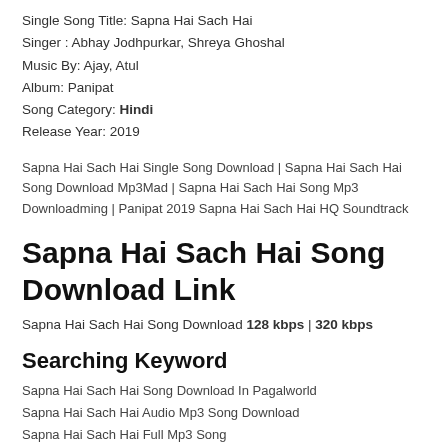Single Song Title: Sapna Hai Sach Hai
Singer : Abhay Jodhpurkar, Shreya Ghoshal
Music By: Ajay, Atul
Album: Panipat
Song Category: Hindi
Release Year: 2019
Sapna Hai Sach Hai Single Song Download | Sapna Hai Sach Hai Song Download Mp3Mad | Sapna Hai Sach Hai Song Mp3 Downloadming | Panipat 2019 Sapna Hai Sach Hai HQ Soundtrack
Sapna Hai Sach Hai Song Download Link
Sapna Hai Sach Hai Song Download 128 kbps | 320 kbps
Searching Keyword
Sapna Hai Sach Hai Song Download In Pagalworld
Sapna Hai Sach Hai Audio Mp3 Song Download
Sapna Hai Sach Hai Full Mp3 Song